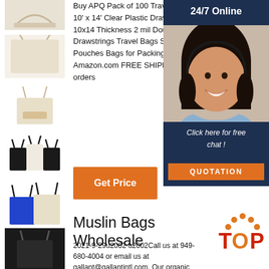[Figure (photo): Thumbnail image 1: cream/beige tote bag top view]
[Figure (photo): Thumbnail image 2: cream fabric close-up]
[Figure (photo): Thumbnail image 3: small natural canvas tote with print]
[Figure (photo): Thumbnail image 4: black and white mini canvas tote bags]
[Figure (photo): Thumbnail image 5: blue and beige tote bags]
[Figure (photo): Thumbnail image 6: black tote bag on dark background]
Buy APQ Pack of 100 Travel Shoe Bags 10' x 14' Clear Plastic Drawstring Bags 10x14 Thickness 2 mil Double Cotton Drawstrings Travel Bags Shoe Storage Pouches Bags for Packing and Storing Amazon.com FREE SHIPPING qualified orders
[Figure (infographic): 24/7 Online customer service widget with agent photo, 'Click here for free chat!' text, and QUOTATION button]
Get Price
Muslin Bags Wholesale
2021-9-29u2002·u2002Call us at 949-680-4004 or email us at gallant@gallantintl.com. Our organic drawstring bags bulk/Muslin bags are
[Figure (logo): TOP logo with orange dots arc above red/orange TOP text]